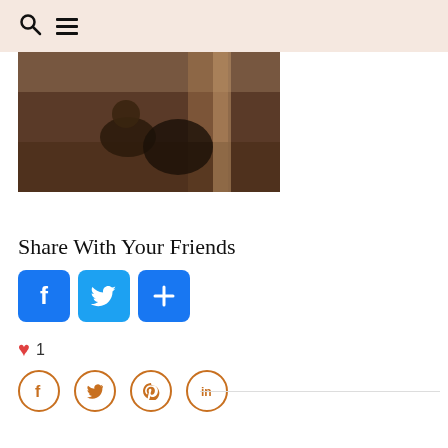[Figure (photo): Person crouching or working on the floor in a construction or rustic indoor setting, dark tones]
Share With Your Friends
[Figure (infographic): Three social share buttons: Facebook (blue with F logo), Twitter (blue with bird logo), and a plus/share button (blue with + icon)]
♥ 1
[Figure (infographic): Four circular orange-outline social icon buttons: Facebook (f), Twitter (bird), Pinterest (P), LinkedIn (in)]